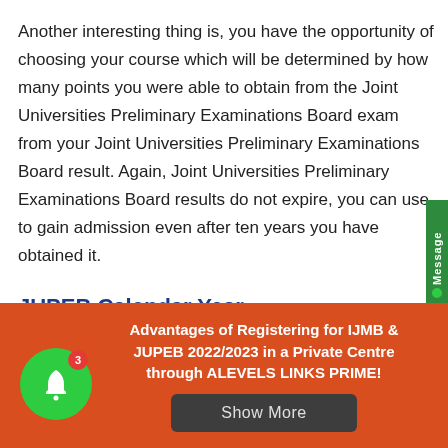Another interesting thing is, you have the opportunity of choosing your course which will be determined by how many points you were able to obtain from the Joint Universities Preliminary Examinations Board exam from your Joint Universities Preliminary Examinations Board result. Again, Joint Universities Preliminary Examinations Board results do not expire, you can use to gain admission even after ten years you have obtained it.
JUPEB Calendar Year
[Figure (infographic): Orange promotional banner reading: Advantages of Registering for IJMB & JUPEB 2022/2023 in a Private Centre through ALEVELS LINKS PRIME! with a Show More button and a green notification bell icon with badge showing 3]